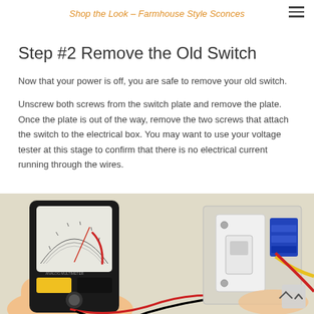Shop the Look – Farmhouse Style Sconces
Step #2 Remove the Old Switch
Now that your power is off, you are safe to remove your old switch.
Unscrew both screws from the switch plate and remove the plate. Once the plate is out of the way, remove the two screws that attach the switch to the electrical box. You may want to use your voltage tester at this stage to confirm that there is no electrical current running through the wires.
[Figure (photo): A hand holding an analog multimeter (voltage tester) near an electrical switch box with blue connectors, yellow and red wires visible.]